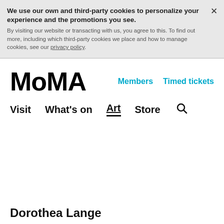We use our own and third-party cookies to personalize your experience and the promotions you see. By visiting our website or transacting with us, you agree to this. To find out more, including which third-party cookies we place and how to manage cookies, see our privacy policy.
MoMA
Members   Timed tickets
Visit   What's on   Art   Store
Dorothea Lange